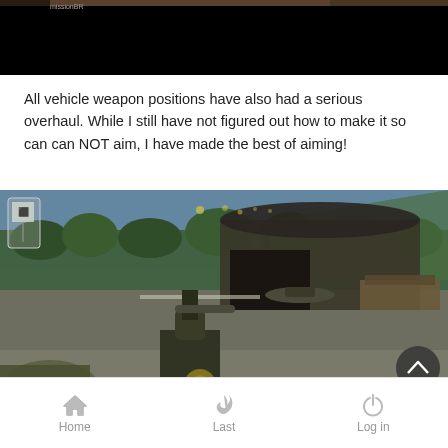[Figure (screenshot): Top portion of a video game screenshot, showing a dark/black scene with a partial image visible at the top edge. Mostly black area visible.]
All vehicle weapon positions have also had a serious overhaul. While I still have not figured out how to make it so can can NOT aim, I have made the best of aiming!
[Figure (screenshot): Video game screenshot showing a military airfield scene with a hangar, helicopter, trees, and a vehicle weapon mount in the foreground. A scroll-up button (dark circle with caret) overlays the bottom-right corner.]
Home   Last   Log in